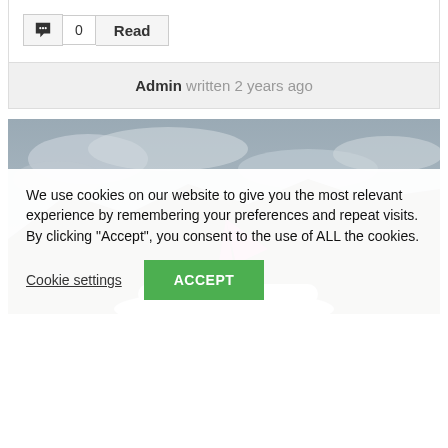0   Read
Admin written 2 years ago
[Figure (photo): Airplane with pink/magenta tail on a runway with cloudy sky and hills in background, partially visible]
We use cookies on our website to give you the most relevant experience by remembering your preferences and repeat visits. By clicking “Accept”, you consent to the use of ALL the cookies.
Cookie settings   ACCEPT